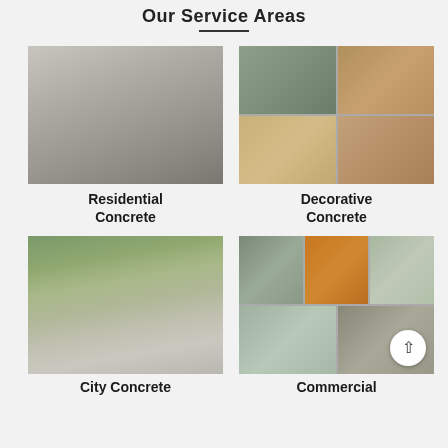Our Service Areas
[Figure (photo): Residential concrete driveway with two garage doors, concrete pathway]
[Figure (photo): Decorative concrete in four-panel collage showing stamped and patterned concrete work]
Residential Concrete
Decorative Concrete
[Figure (photo): City concrete sidewalk and road area with fence and suburban houses]
[Figure (photo): Commercial concrete work shown in collage of five panels with machinery and workers]
City Concrete
Commercial